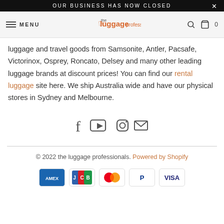OUR BUSINESS HAS NOW CLOSED
MENU | the luggage professionals
luggage and travel goods from Samsonite, Antler, Pacsafe, Victorinox, Osprey, Roncato, Delsey and many other leading luggage brands at discount prices! You can find our rental luggage site here. We ship Australia wide and have our physical stores in Sydney and Melbourne.
[Figure (other): Social media icons: Facebook, YouTube, Instagram, Email]
© 2022 the luggage professionals. Powered by Shopify
[Figure (other): Payment method icons: American Express, JCB, Mastercard, PayPal, Visa]